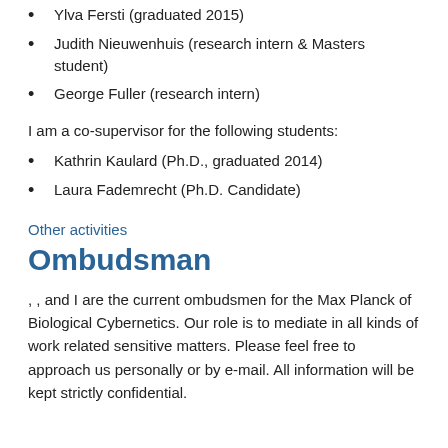Ylva Fersti (graduated 2015)
Judith Nieuwenhuis (research intern & Masters student)
George Fuller (research intern)
I am a co-supervisor for the following students:
Kathrin Kaulard (Ph.D., graduated 2014)
Laura Fademrecht (Ph.D. Candidate)
Other activities
Ombudsman
, , and I are the current ombudsmen for the Max Planck of Biological Cybernetics. Our role is to mediate in all kinds of work related sensitive matters. Please feel free to approach us personally or by e-mail. All information will be kept strictly confidential.